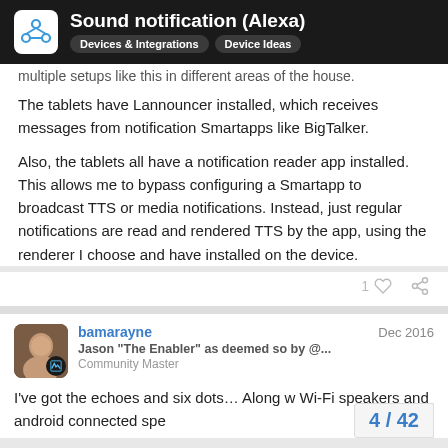Sound notification (Alexa) — Devices & Integrations, Device Ideas
multiple setups like this in different areas of the house.
The tablets have Lannouncer installed, which receives messages from notification Smartapps like BigTalker.
Also, the tablets all have a notification reader app installed. This allows me to bypass configuring a Smartapp to broadcast TTS or media notifications. Instead, just regular notifications are read and rendered TTS by the app, using the renderer I choose and have installed on the device.
bamarayne  Dec 2016
Jason "The Enabler" as deemed so by @...
Community Master
I've got the echoes and six dots... Along w Wi-Fi speakers and android connected spe